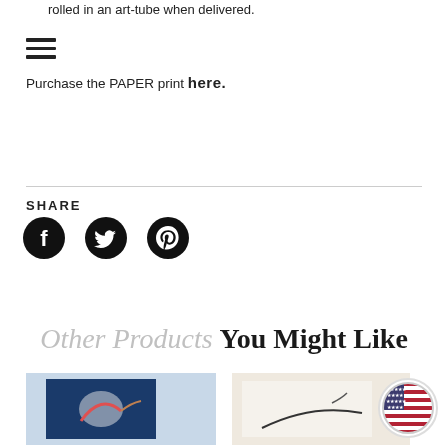rolled in an art-tube when delivered.
[Figure (other): Hamburger menu icon (three horizontal lines)]
Purchase the PAPER print here.
SHARE
[Figure (other): Social media icons: Facebook, Twitter, Pinterest]
Other Products You Might Like
[Figure (photo): Product image left - art print with bird on blue background]
[Figure (photo): Product image right - art print with bird on light background]
[Figure (other): US flag circular badge/overlay]